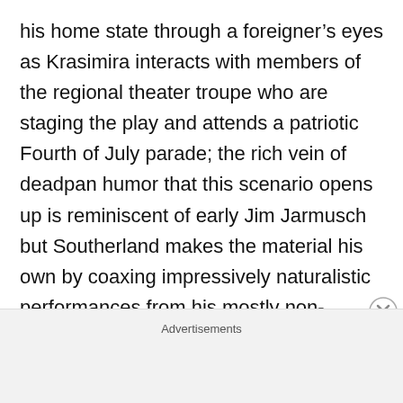his home state through a foreigner's eyes as Krasimira interacts with members of the regional theater troupe who are staging the play and attends a patriotic Fourth of July parade; the rich vein of deadpan humor that this scenario opens up is reminiscent of early Jim Jarmusch but Southerland makes the material his own by coaxing impressively naturalistic performances from his mostly non-professional cast so that the film at times feels more like documentary than fiction. FORT MARIA (2018, 85 min.) involves many of the same elements as PROUD CITIZEN but improves upon the earlier movie by applying a more elegant visual style and a more ambitious narrative structure to its subject matter: Maria (Stoykova-Klemer) is
Advertisements